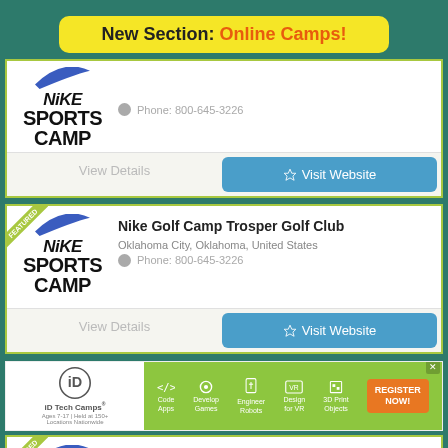New Section: Online Camps!
[Figure (logo): Nike Sports Camp logo with swoosh - partial card top]
Phone: 800-645-3226
View Details
Visit Website
[Figure (logo): Nike Sports Camp logo with swoosh - featured card with Nike Golf Camp Trosper Golf Club]
Nike Golf Camp Trosper Golf Club
Oklahoma City, Oklahoma, United States
Phone: 800-645-3226
View Details
Visit Website
[Figure (infographic): iD Tech Camps advertisement banner with register now button]
[Figure (logo): Nike Sports Camp logo - partial bottom card for Nike Soccer Camp at Pace University]
Nike Soccer Camp at Pace University
Pleasantville, New York, United States